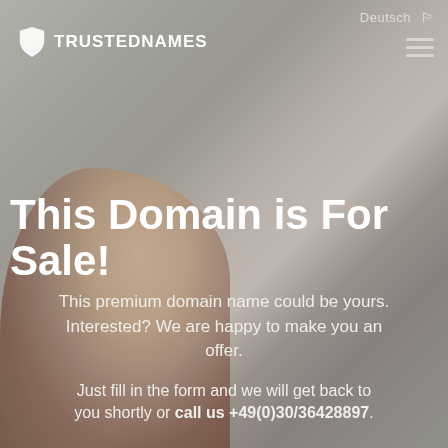[Figure (photo): Background photo of a woman with light/reddish hair, muted grey-brown overlay]
Deutsch 🏳
TRUSTEDNAMES
This Domain is For Sale!
This premium domain name could be yours. Interested? We are happy to make you an offer.
Just fill in the form and we will get back to you shortly or call us +49(0)30/36428897.